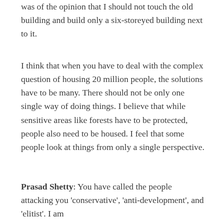was of the opinion that I should not touch the old building and build only a six-storeyed building next to it.
I think that when you have to deal with the complex question of housing 20 million people, the solutions have to be many. There should not be only one single way of doing things. I believe that while sensitive areas like forests have to be protected, people also need to be housed. I feel that some people look at things from only a single perspective.
Prasad Shetty: You have called the people attacking you 'conservative', 'anti-development', and 'elitist'. I am interested in the conversation we had about your views